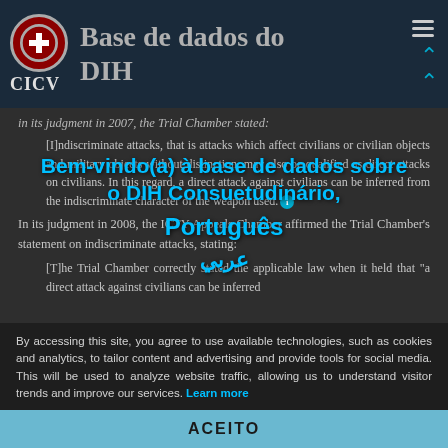Base de dados do DIH — CICV
In its judgment in 2007, the Trial Chamber stated:
[I]ndiscriminate attacks, that is attacks which affect civilians or civilian objects and military objects without distinction, may also be qualified as direct attacks on civilians. In this regard, a direct attack against civilians can be inferred from the indiscriminate character of the weapon used.
Bem-vindo(a) à base de dados sobre o DIH Consuetudinário,
Português
In its judgment in 2008, the ICTY Appeals Chamber affirmed the Trial Chamber's statement on indiscriminate attacks, stating:
عربي
[T]he Trial Chamber correctly stated the applicable law when it held that "a direct attack against civilians can be inferred
By accessing this site, you agree to use available technologies, such as cookies and analytics, to tailor content and advertising and provide tools for social media. This will be used to analyze website traffic, allowing us to understand visitor trends and improve our services. Learn more
ACEITO